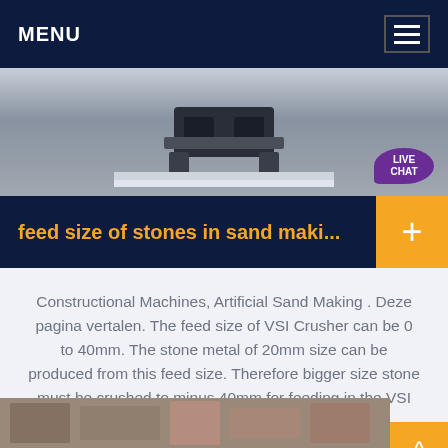MENU
[Figure (photo): Close-up photo of industrial crusher/sand-making machine parts on a surface]
feed size of stones in sand maki...
Constructional Machines, Artificial Sand Making . Deze pagina vertalen. The feed size of VSI Crusher can be 0 to 40mm. The stone metal of 20mm size can be produced from this feed size. Therefore bigger size stone must be crushed to minus 40mm for feeding in the VSI Crusher.
[Figure (photo): Partial view of industrial machinery at bottom of page]